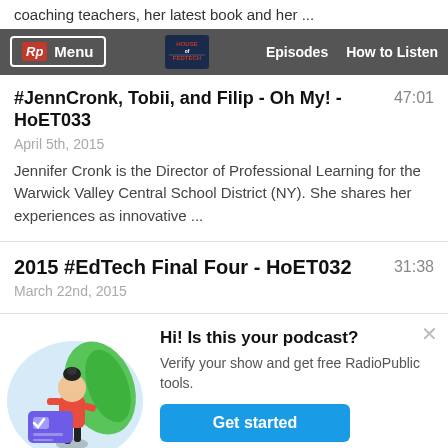coaching teachers, her latest book and her ...
Rp Menu | House of FedTech | Episodes | How to Listen
#JennCronk, Tobii, and Filip - Oh My! - HoET033
47:01
April 5th, 2015
Jennifer Cronk is the Director of Professional Learning for the Warwick Valley Central School District (NY). She shares her experiences as innovative ...
2015 #EdTech Final Four - HoET032
31:38
March 22nd, 2015
[Figure (illustration): Illustration of a woman in a red top standing next to a large green leaf, with a blue card/letter in front of her, on a light blue circular background]
Hi! Is this your podcast? Verify your show and get free RadioPublic tools.
Get started